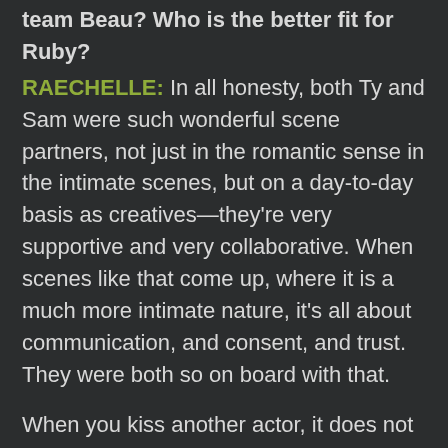team Beau? Who is the better fit for Ruby?
RAECHELLE: In all honesty, both Ty and Sam were such wonderful scene partners, not just in the romantic sense in the intimate scenes, but on a day-to-day basis as creatives—they're very supportive and very collaborative. When scenes like that come up, where it is a much more intimate nature, it's all about communication, and consent, and trust. They were both so on board with that.
When you kiss another actor, it does not feel like a kiss in real life. You get no tummy tingles from those experiences, it's all acting. It all feels like